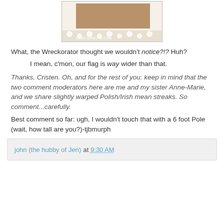[Figure (photo): Photo of a cake with a brown/tan rectangular fondant panel on top, with white frosting border. Watermark reads 'CAKE WRECKS.COM']
What, the Wreckorator thought we wouldn't notice?!? Huh?
I mean, c'mon, our flag is way wider than that.
Thanks, Cristen. Oh, and for the rest of you: keep in mind that the two comment moderators here are me and my sister Anne-Marie, and we share slightly warped Polish/Irish mean streaks. So comment...carefully.
Best comment so far: ugh, I wouldn't touch that with a 6 foot Pole (wait, how tall are you?)-tjbmurph
john (the hubby of Jen) at 9:30 AM